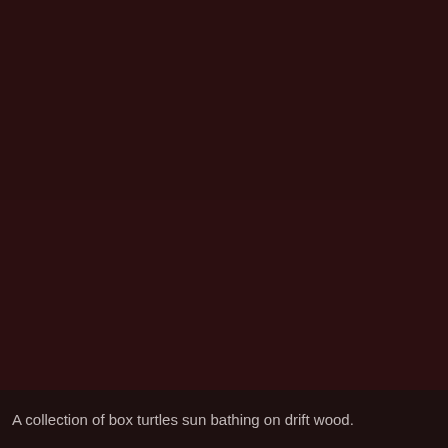[Figure (photo): A very dark, nearly black image with deep dark brown/maroon tones. The image appears to be an extremely underexposed or darkened photograph, almost entirely obscured.]
A collection of box turtles sun bathing on drift wood.